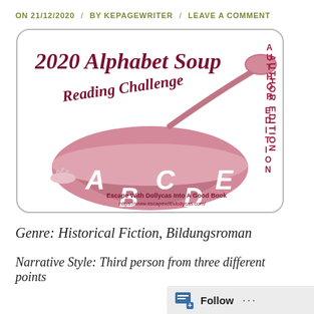ON 21/12/2020 / BY KEPAGEWRITER / LEAVE A COMMENT
[Figure (illustration): 2020 Alphabet Soup Reading Challenge - Author Edition badge. A bowl of soup with letters A, B, C, D, E, a ladle, and text 'Escape With Dollycas Into A Good Book' and 'https://www.escapewithdollycas.com/'. Colors: dark red/mauve on white background.]
Genre: Historical Fiction, Bildungsroman
Narrative Style: Third person from three different points